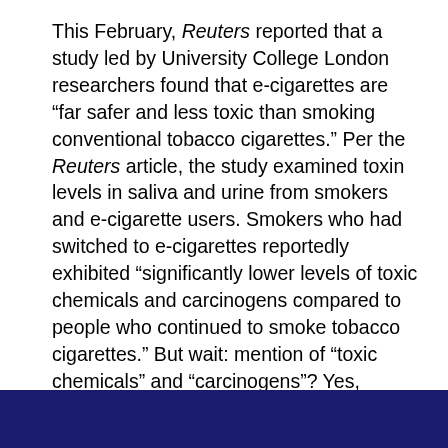This February, Reuters reported that a study led by University College London researchers found that e-cigarettes are “far safer and less toxic than smoking conventional tobacco cigarettes.” Per the Reuters article, the study examined toxin levels in saliva and urine from smokers and e-cigarette users. Smokers who had switched to e-cigarettes reportedly exhibited “significantly lower levels of toxic chemicals and carcinogens compared to people who continued to smoke tobacco cigarettes.” But wait: mention of “toxic chemicals” and “carcinogens”? Yes, researchers have found evidence of toxic chemicals and carcinogens being released by